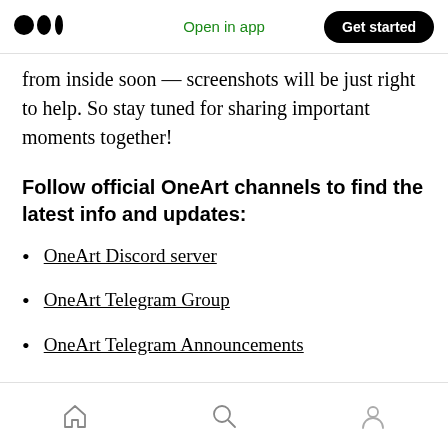Medium logo | Open in app | Get started
from inside soon — screenshots will be just right to help. So stay tuned for sharing important moments together!
Follow official OneArt channels to find the latest info and updates:
OneArt Discord server
OneArt Telegram Group
OneArt Telegram Announcements
OneArt Twitter
Home | Search | Profile